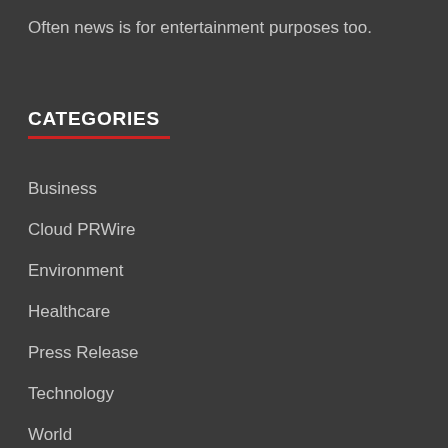Often news is for entertainment purposes too.
CATEGORIES
Business
Cloud PRWire
Environment
Healthcare
Press Release
Technology
World